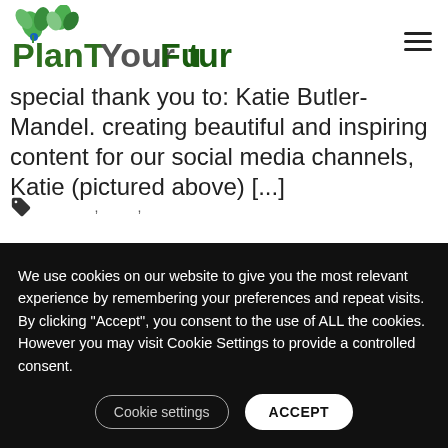[Figure (logo): Plant Your Future logo with green leaf icons above letters and stylized green text]
special thank you to: Katie Butler-Mandel. creating beautiful and inspiring content for our social media channels, Katie (pictured above) [...]
We use cookies on our website to give you the most relevant experience by remembering your preferences and repeat visits. By clicking “Accept”, you consent to the use of ALL the cookies. However you may visit Cookie Settings to provide a controlled consent.